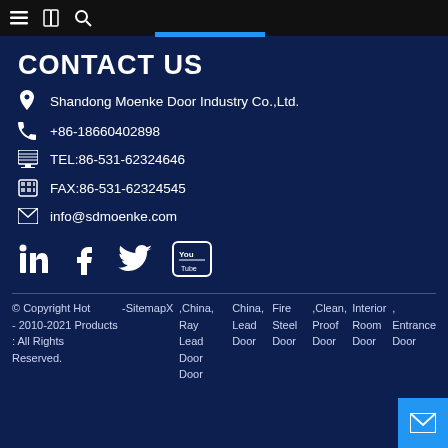Navigation bar with menu, book, and search icons
CONTACT US
Shandong Moenke Door Industry Co.,Ltd.
+86-18660402898
TEL:86-531-62324646
FAX:86-531-62324545
info@sdmoenke.com
[Figure (other): Social media icons: LinkedIn, Facebook, Twitter, YouTube]
© Copyright Hot -SitemapX ,China,China,Fire ,Clean,Interior , - 2010-2021 Products Ray Lead Steel Proof Room Entrance : All Rights Lead Door Door Door Door Door Reserved. Door